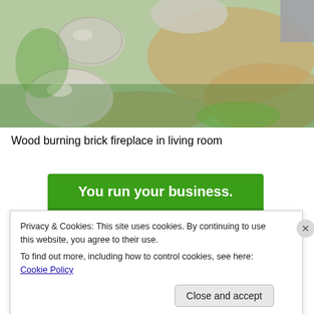[Figure (photo): Outdoor garden scene with stone stepping path, green grass, and mixed ground cover plants viewed from above.]
Wood burning brick fireplace in living room
[Figure (infographic): Green advertisement banner with white bold text reading 'You run your business.']
Privacy & Cookies: This site uses cookies. By continuing to use this website, you agree to their use.
To find out more, including how to control cookies, see here: Cookie Policy
Close and accept